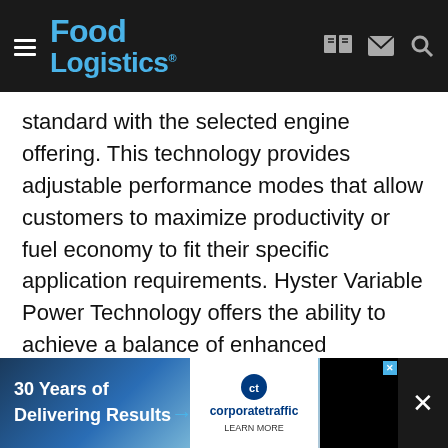Food Logistics
standard with the selected engine offering. This technology provides adjustable performance modes that allow customers to maximize productivity or fuel economy to fit their specific application requirements. Hyster Variable Power Technology offers the ability to achieve a balance of enhanced performance and superior fuel economy or to maximize productivity during peak business periods.
ASSA ABLOY Entrance demonstrates the latest features, benefits and tailored applications for its yard and dock management system. Designed to eliminate the common and most often, costly logistics problems around the yard and loading dock, the system gathers critical data to assist facilities in efficiently managing operations such as
[Figure (advertisement): Advertisement banner: '30 Years of Delivering Results' with corporatetraffic logo and close button]